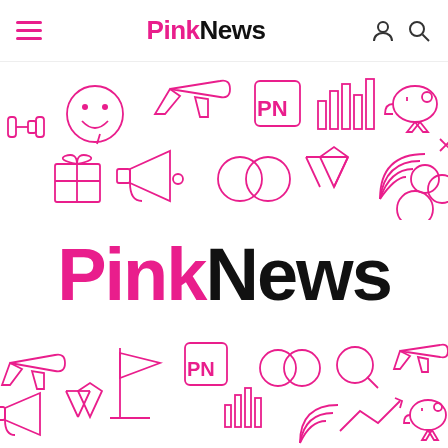PinkNews navigation bar with hamburger menu, PinkNews logo, user and search icons
[Figure (illustration): Rainbow horizontal bar stripe (red, orange, yellow, green, blue, purple segments)]
[Figure (illustration): Top decorative band of pink outline icons including dumbbell, smiley face, airplane, PN logo box, bar chart, piggy bank, gift box, megaphone, rings, diamond, rainbow, magnifying glass, circles, X]
[Figure (logo): PinkNews large logo: 'Pink' in pink bold, 'News' in black bold]
[Figure (illustration): Bottom decorative band of pink outline icons including airplane, flag, PN logo box, rings, magnifying glass, airplane again, megaphone, diamond, bar chart, rainbow, trend arrow, piggy bank]